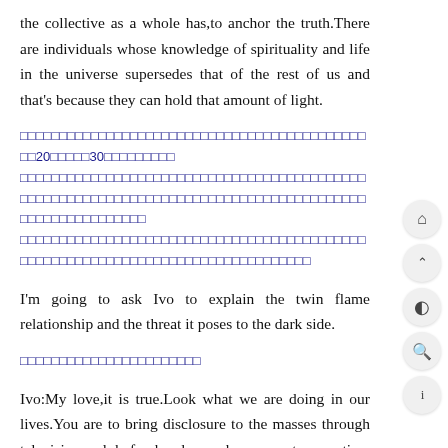the collective as a whole has,to anchor the truth.There are individuals whose knowledge of spirituality and life in the universe supersedes that of the rest of us and that's because they can hold that amount of light.
□□□□□□□□□□□□□□□□□□□□□□□□□□□□□□□□□□□□□□□□□□□□□□20□□□□□30□□□□□□□□□□□□□□□□□□□□□□□□□□□□□□□□□□□□□□□□□□□□□□□□□□□□□□□□□□□□□□□□□□□□□□□□□□□□□□□□□□□□□□□□□□□□□□□□□□□□□□□□□□□□□□□□□□□□□□□□□□□□□□□□□□□□□□□□□□□□□□□□□□□□□□□□□□□□
I'm going to ask Ivo to explain the twin flame relationship and the threat it poses to the dark side.
□□□□□□□□□□□□□□□□□□□□□□□□
Ivo:My love,it is true.Look what we are doing in our lives.You are to bring disclosure to the masses through television,and beforehand you have spent your time waking